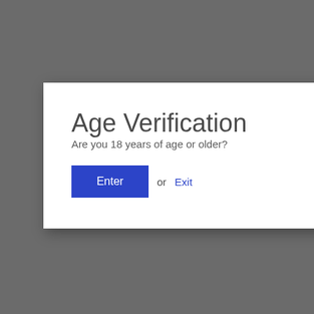Age Verification
Are you 18 years of age or older?
Enter or Exit